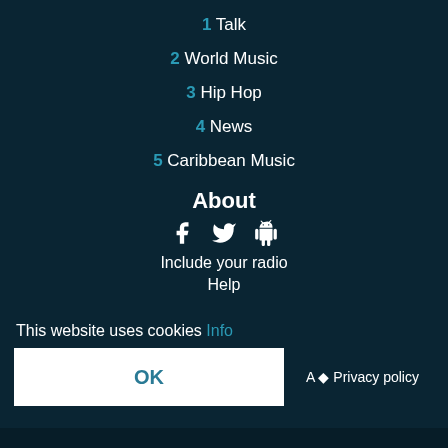1 Talk
2 World Music
3 Hip Hop
4 News
5 Caribbean Music
About
[Figure (other): Social media icons: Facebook, Twitter, Android]
Include your radio
Help
This website uses cookies Info
OK
A ♦ Privacy policy